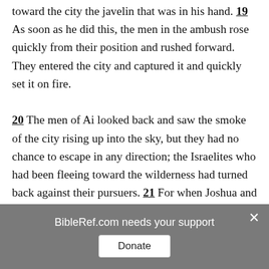toward the city the javelin that was in his hand. 19 As soon as he did this, the men in the ambush rose quickly from their position and rushed forward. They entered the city and captured it and quickly set it on fire. 20 The men of Ai looked back and saw the smoke of the city rising up into the sky, but they had no chance to escape in any direction; the Israelites who had been fleeing toward the wilderness had turned back against their pursuers. 21 For when Joshua and all Israel saw that the ambush had
BibleRef.com needs your support
Donate